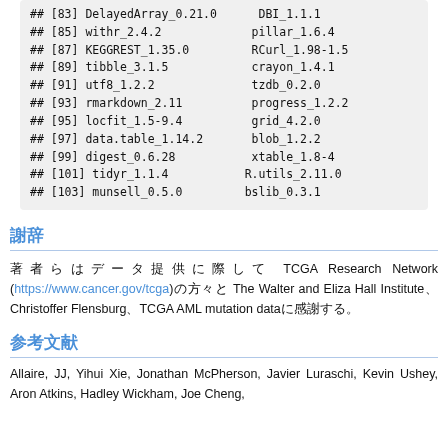## [83] DelayedArray_0.21.0   DBI_1.1.1
## [85] withr_2.4.2             pillar_1.6.4
## [87] KEGGREST_1.35.0         RCurl_1.98-1.5
## [89] tibble_3.1.5            crayon_1.4.1
## [91] utf8_1.2.2              tzdb_0.2.0
## [93] rmarkdown_2.11          progress_1.2.2
## [95] locfit_1.5-9.4          grid_4.2.0
## [97] data.table_1.14.2       blob_1.2.2
## [99] digest_0.6.28           xtable_1.8-4
## [101] tidyr_1.1.4            R.utils_2.11.0
## [103] munsell_0.5.0          bslib_0.3.1
謝辞
著者らはデータ提供に際して TCGA Research Network (https://www.cancer.gov/tcga) の方々と The Walter and Eliza Hall Institute、Christoffer Flensburg、TCGA AML mutation data に感謝する。
参考文献
Allaire, JJ, Yihui Xie, Jonathan McPherson, Javier Luraschi, Kevin Ushey, Aron Atkins, Hadley Wickham, Joe Cheng,